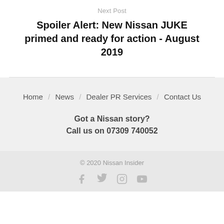Next Post
Spoiler Alert: New Nissan JUKE primed and ready for action - August 2019
Home / News / Dealer PR Services / Contact Us
Got a Nissan story?
Call us on 07309 740052
© 2020 Nissan Insider